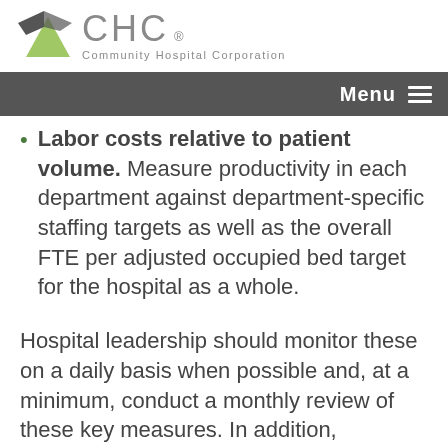CHC Community Hospital Corporation
Labor costs relative to patient volume. Measure productivity in each department against department-specific staffing targets as well as the overall FTE per adjusted occupied bed target for the hospital as a whole.
Hospital leadership should monitor these on a daily basis when possible and, at a minimum, conduct a monthly review of these key measures. In addition,